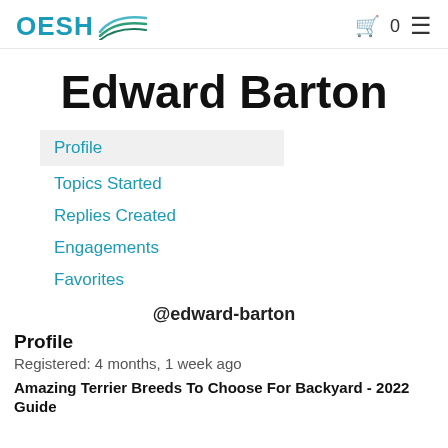OESH
Edward Barton
Profile
Topics Started
Replies Created
Engagements
Favorites
@edward-barton
Profile
Registered: 4 months, 1 week ago
Amazing Terrier Breeds To Choose For Backyard - 2022 Guide